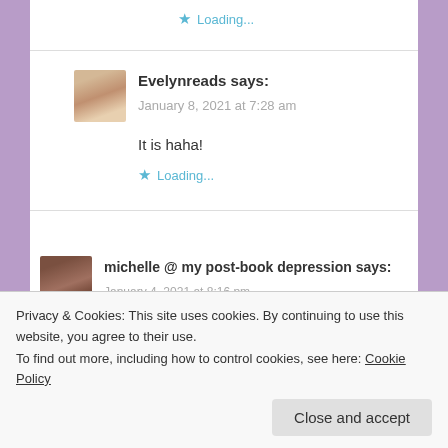Loading...
Evelynreads says:
January 8, 2021 at 7:28 am

It is haha!
Loading...
michelle @ my post-book depression says:
January 4, 2021 at 8:16 pm
Privacy & Cookies: This site uses cookies. By continuing to use this website, you agree to their use.
To find out more, including how to control cookies, see here: Cookie Policy
Close and accept
witcher nana